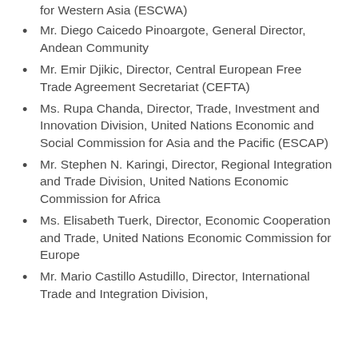for Western Asia (ESCWA)
Mr. Diego Caicedo Pinoargote, General Director, Andean Community
Mr. Emir Djikic, Director, Central European Free Trade Agreement Secretariat (CEFTA)
Ms. Rupa Chanda, Director, Trade, Investment and Innovation Division, United Nations Economic and Social Commission for Asia and the Pacific (ESCAP)
Mr. Stephen N. Karingi, Director, Regional Integration and Trade Division, United Nations Economic Commission for Africa
Ms. Elisabeth Tuerk, Director, Economic Cooperation and Trade, United Nations Economic Commission for Europe
Mr. Mario Castillo Astudillo, Director, International Trade and Integration Division,